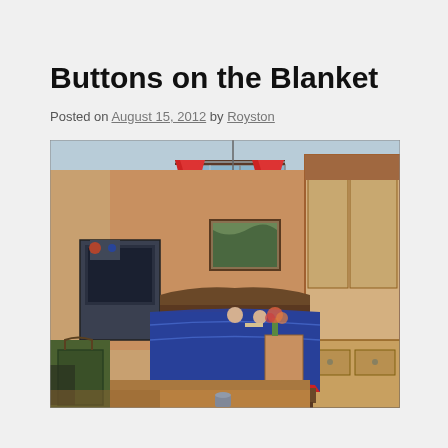Buttons on the Blanket
Posted on August 15, 2012 by Royston
[Figure (illustration): A colorful illustrated painting of a bedroom interior, featuring red curtains framing a window, a bed in the center with figures on it, a fireplace or stove on the left, framed artwork on the wall, and a large wardrobe/dresser on the right. The style is vivid and painterly with warm oranges, reds, and blues.]